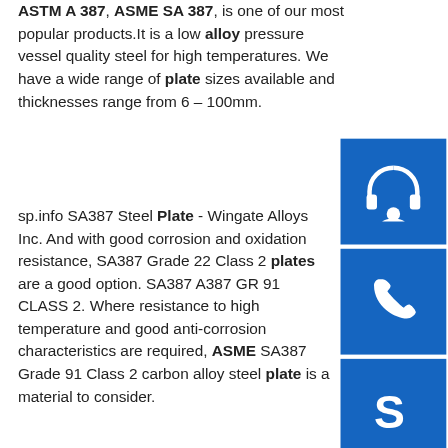ASTM A 387, ASME SA 387, is one of our most popular products. It is a low alloy pressure vessel quality steel for high temperatures. We have a wide range of plate sizes available and thicknesses range from 6 – 100mm.
[Figure (illustration): Blue sidebar with three icon buttons: headset/customer service icon, phone icon, and Skype icon]
sp.info SA387 Steel Plate - Wingate Alloys Inc. And with good corrosion and oxidation resistance, SA387 Grade 22 Class 2 plates are a good option. SA387 A387 GR 91 CLASS 2. Where resistance to high temperature and good anti-corrosion characteristics are required, ASME SA387 Grade 91 Class 2 carbon alloy steel plate is a material to consider.
Buy Alloy Plates Asme Sa 387 - vivaboat24.nl
Buy Alloy Plates Asme Sa 387 Please fill in your name and your message and do not forget mail and/or phone
[Figure (photo): Photo of stacked metal alloy plates, showing multiple layers of steel plates from a side angle]